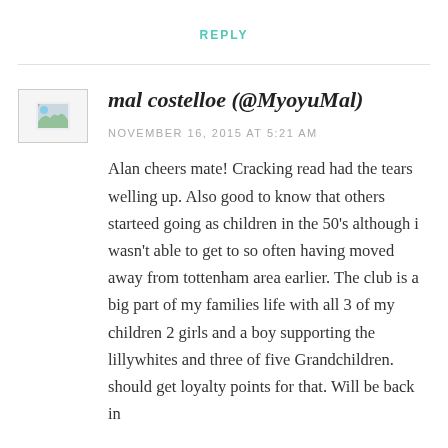REPLY
mal costelloe (@MyoyuMal)
NOVEMBER 16, 2015 AT 5:21 AM
Alan cheers mate! Cracking read had the tears welling up. Also good to know that others starteed going as children in the 50's although i wasn't able to get to so often having moved away from tottenham area earlier. The club is a big part of my families life with all 3 of my children 2 girls and a boy supporting the lillywhites and three of five Grandchildren. should get loyalty points for that. Will be back in